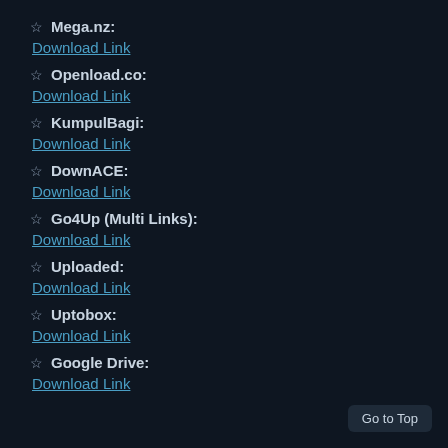☆ Mega.nz:
Download Link
☆ Openload.co:
Download Link
☆ KumpulBagi:
Download Link
☆ DownACE:
Download Link
☆ Go4Up (Multi Links):
Download Link
☆ Uploaded:
Download Link
☆ Uptobox:
Download Link
☆ Google Drive:
Download Link